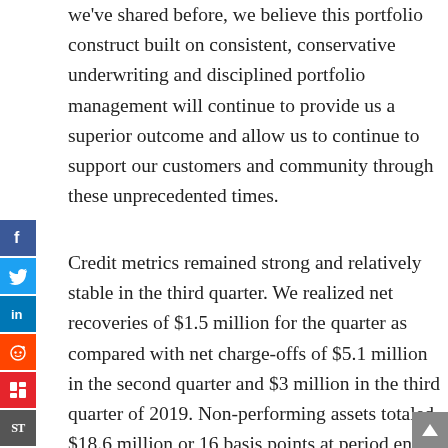we've shared before, we believe this portfolio construct built on consistent, conservative underwriting and disciplined portfolio management will continue to provide us a superior outcome and allow us to continue to support our customers and community through these unprecedented times.
Credit metrics remained strong and relatively stable in the third quarter. We realized net recoveries of $1.5 million for the quarter as compared with net charge-offs of $5.1 million in the second quarter and $3 million in the third quarter of 2019. Non-performing assets totaled $18.6 million or 16 basis points at period end, down $4.1 million or 3 basis points for the linked period and down $3 million or 4 basis points year-over-year. Criticized loan exposure increased $51.1 million to $250.7 million or 2.13% of total loans.